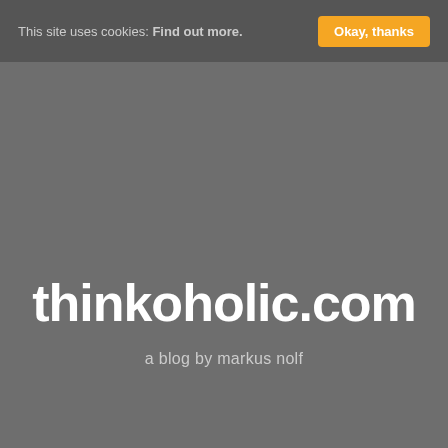This site uses cookies: Find out more.  Okay, thanks
[Figure (screenshot): Hamburger menu icon button with three horizontal lines on a light gray background]
thinkoholic.com
a blog by markus nolf